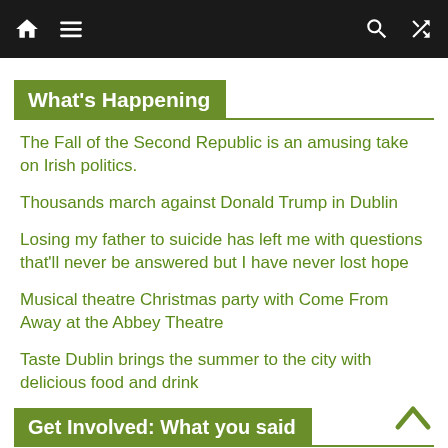[Navigation bar with home, menu, search, shuffle icons]
What's Happening
The Fall of the Second Republic is an amusing take on Irish politics.
Thousands march against Donald Trump in Dublin
Losing my father to suicide has left me with questions that'll never be answered but I have never lost hope
Musical theatre Christmas party with Come From Away at the Abbey Theatre
Taste Dublin brings the summer to the city with delicious food and drink
Get Involved: What you said